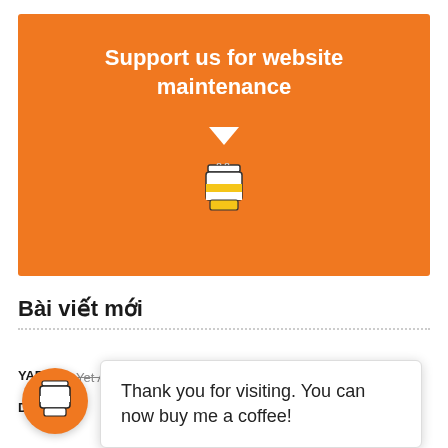[Figure (infographic): Orange banner with bold white text 'Support us for website maintenance', a white downward triangle arrow, and a coffee cup icon on orange background]
Bài viết mới
YAPP   Yet Another Profit Pointer – Free
Downl...
[Figure (infographic): Orange circle with white coffee cup icon (Buy Me a Coffee button)]
Thank you for visiting. You can now buy me a coffee!